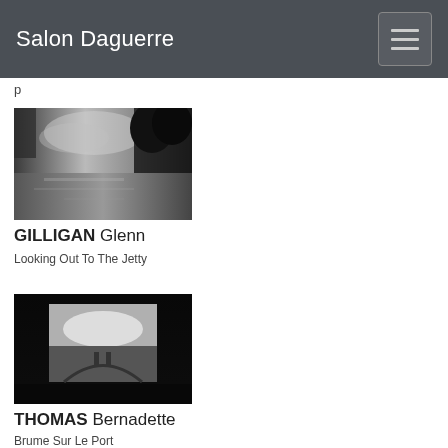Salon Daguerre
[Figure (photo): Black and white photograph of a waterway looking out to a jetty with dramatic clouds and overhanging trees]
GILLIGAN Glenn
Looking Out To The Jetty
[Figure (photo): Black and white photograph showing a foggy port scene with dark borders, appears to be a photograph of a photograph]
THOMAS Bernadette
Brume Sur Le Port